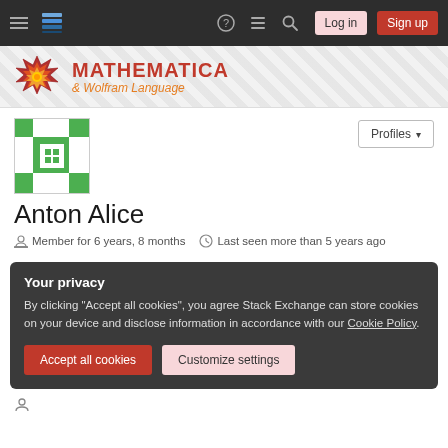Navigation bar with hamburger menu, Stack Exchange logo, help, chat, search icons, Log in and Sign up buttons
[Figure (logo): Mathematica Stack Exchange logo with snowflake/mandala icon and text MATHEMATICA & Wolfram Language]
[Figure (illustration): User avatar: green pixelated/blocky pattern on white background]
Profiles ▾
Anton Alice
Member for 6 years, 8 months   Last seen more than 5 years ago
Your privacy
By clicking "Accept all cookies", you agree Stack Exchange can store cookies on your device and disclose information in accordance with our Cookie Policy.
Accept all cookies   Customize settings